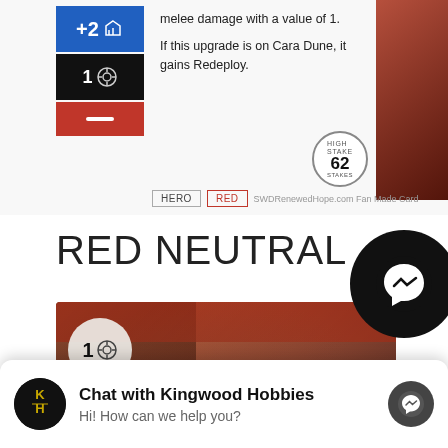[Figure (illustration): Star Wars Destiny fan-made card partial view showing +2 melee symbol, shield icon, and minus symbol in blue/black/red boxes, with card art on right side and HERO/RED tags at bottom. Text: 'melee damage with a value of 1. If this upgrade is on Cara Dune, it gains Redeploy.' with SWDRenewedHope.com Fan Made Card watermark and number 62 stamp.]
melee damage with a value of 1.
If this upgrade is on Cara Dune, it gains Redeploy.
RED NEUTRAL
[Figure (illustration): Star Wars Destiny card art showing two characters (Finn and Poe Dameron) looking serious, with red background and circular badge showing number 10 with target/crosshair icon.]
[Figure (other): Facebook Messenger chat widget showing KH Kingwood Hobbies logo, text 'Chat with Kingwood Hobbies' and 'Hi! How can we help you?' with messenger icon on right.]